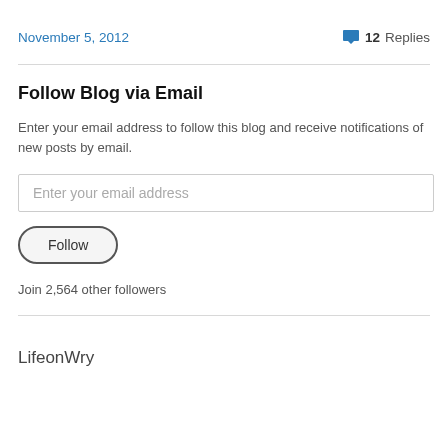November 5, 2012
12 Replies
Follow Blog via Email
Enter your email address to follow this blog and receive notifications of new posts by email.
Enter your email address
Follow
Join 2,564 other followers
LifeonWry